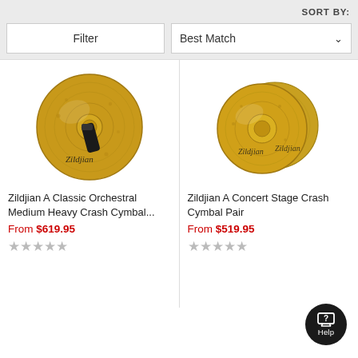SORT BY:
Filter
Best Match
[Figure (photo): Zildjian A Classic Orchestral Medium Heavy Crash Cymbal, single large golden brass cymbal with black strap handle, Zildjian script logo]
Zildjian A Classic Orchestral Medium Heavy Crash Cymbal...
From $619.95
★★★★★ (empty stars)
[Figure (photo): Zildjian A Concert Stage Crash Cymbal Pair, two overlapping golden brass cymbals with Zildjian script logos]
Zildjian A Concert Stage Crash Cymbal Pair
From $519.95
★★★★★ (empty stars)